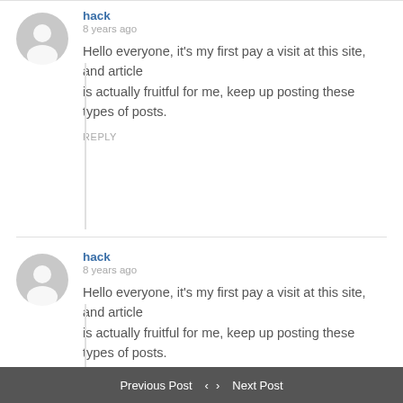hack
8 years ago
Hello everyone, it’s my first pay a visit at this site, and article is actually fruitful for me, keep up posting these types of posts.
REPLY
hack
8 years ago
Hello everyone, it’s my first pay a visit at this site, and article is actually fruitful for me, keep up posting these types of posts.
REPLY
Previous Post ‹ › Next Post